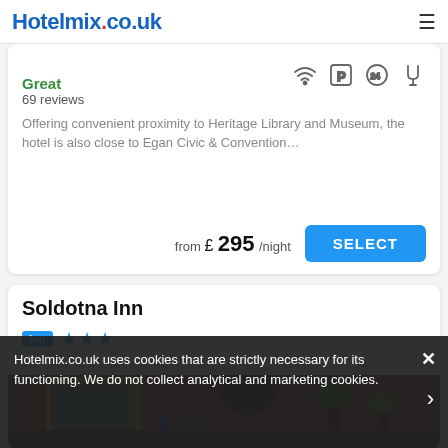Hotelmix.co.uk
Great
69 reviews
Offering convenient proximity to Heritage Library and Museum, the hotel is also close to Egan Civic & Convention...
from £ 295/night
SELECT
Soldotna Inn
Inn ★★★
[Figure (photo): Interior photo of Soldotna Inn showing a reception desk area with wooden paneling, a framed painting, a mounted animal head, plants, and various objects on the desk.]
Hotelmix.co.uk uses cookies that are strictly necessary for its functioning. We do not collect analytical and marketing cookies.